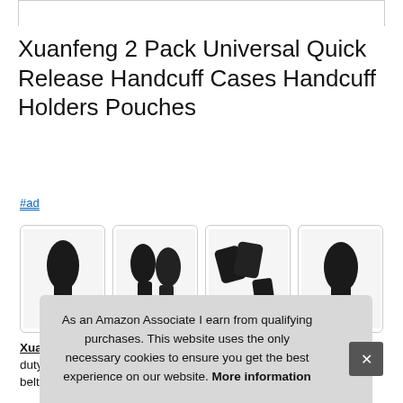Xuanfeng 2 Pack Universal Quick Release Handcuff Cases Handcuff Holders Pouches
#ad
[Figure (photo): Four product images showing black handcuff holder pouches from various angles]
Xua... duty... belt, handcuff is not included. Secure, compact, and extremely
As an Amazon Associate I earn from qualifying purchases. This website uses the only necessary cookies to ensure you get the best experience on our website. More information